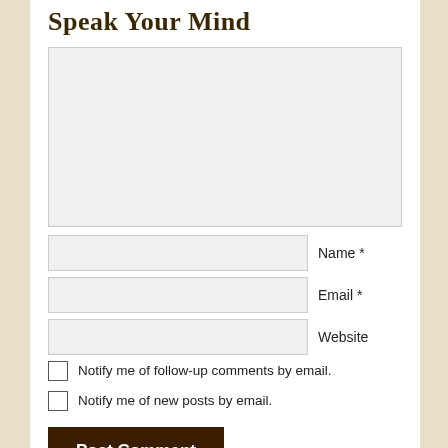Speak Your Mind
[Figure (other): Large empty text area input box for comment entry]
Name *
Email *
Website
Notify me of follow-up comments by email.
Notify me of new posts by email.
Post Comment